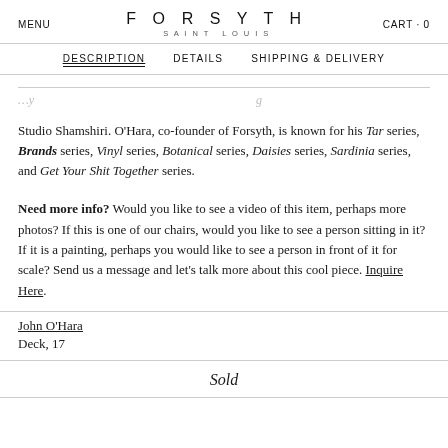MENU   FORSYTH SAINT LOUIS   CART · 0
DESCRIPTION   DETAILS   SHIPPING & DELIVERY
Studio Shamshiri. O'Hara, co-founder of Forsyth, is known for his Tar series, Brands series, Vinyl series, Botanical series, Daisies series, Sardinia series, and Get Your Shit Together series.
Need more info?  Would you like to see a video of this item, perhaps more photos?  If this is one of our chairs, would you like to see a person sitting in it?  If it is a painting, perhaps you would like to see a person in front of it for scale?  Send us a message and let's talk more about this cool piece.  Inquire Here.
John O'Hara
Deck, 17
Sold